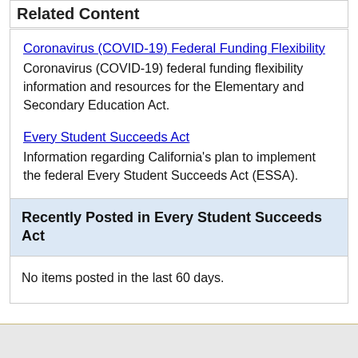Related Content
Coronavirus (COVID-19) Federal Funding Flexibility
Coronavirus (COVID-19) federal funding flexibility information and resources for the Elementary and Secondary Education Act.
Every Student Succeeds Act
Information regarding California's plan to implement the federal Every Student Succeeds Act (ESSA).
Recently Posted in Every Student Succeeds Act
No items posted in the last 60 days.